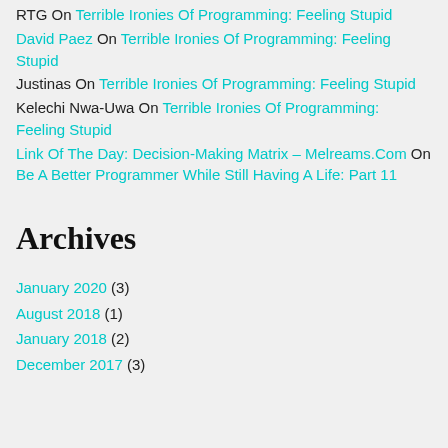RTG On Terrible Ironies Of Programming: Feeling Stupid
David Paez On Terrible Ironies Of Programming: Feeling Stupid
Justinas On Terrible Ironies Of Programming: Feeling Stupid
Kelechi Nwa-Uwa On Terrible Ironies Of Programming: Feeling Stupid
Link Of The Day: Decision-Making Matrix – Melreams.Com On Be A Better Programmer While Still Having A Life: Part 11
Archives
January 2020 (3)
August 2018 (1)
January 2018 (2)
December 2017 (3)